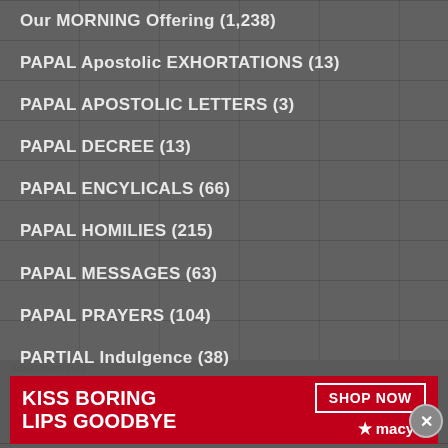Our MORNING Offering (1,238)
PAPAL Apostolic EXHORTATIONS (13)
PAPAL APOSTOLIC LETTERS (3)
PAPAL DECREE (13)
PAPAL ENCYLICALS (66)
PAPAL HOMILIES (215)
PAPAL MESSAGES (63)
PAPAL PRAYERS (104)
PARTIAL Indulgence (38)
PATRONAGE – A HOLY DEATH & AGAINST A SUDDEN DEATH (3)
PATRONAGE – Against DROWNING (2)
Advertisements
[Figure (photo): Macy's advertisement: 'KISS BORING LIPS GOODBYE' with SHOP NOW button and Macy's star logo, red background with woman's face]